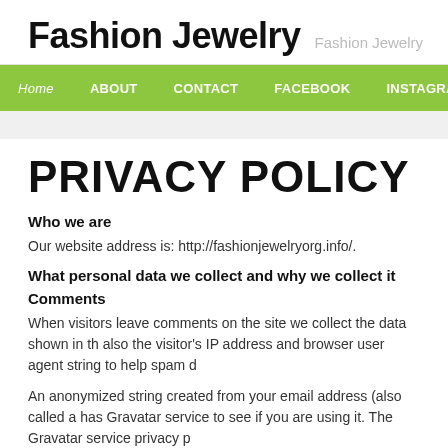Fashion Jewelry  Fashion Jewelry
Home  ABOUT  CONTACT  FACEBOOK  INSTAGRAM  PRIVACY POL
PRIVACY POLICY
Who we are
Our website address is: http://fashionjewelryorg.info/.
What personal data we collect and why we collect it
Comments
When visitors leave comments on the site we collect the data shown in the also the visitor's IP address and browser user agent string to help spam d
An anonymized string created from your email address (also called a has Gravatar service to see if you are using it. The Gravatar service privacy p